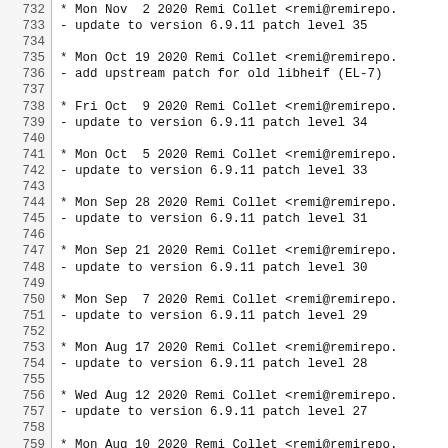732  * Mon Nov  2 2020 Remi Collet <remi@remirepo.
733  - update to version 6.9.11 patch level 35
734
735  * Mon Oct 19 2020 Remi Collet <remi@remirepo.
736  - add upstream patch for old libheif (EL-7)
737
738  * Fri Oct  9 2020 Remi Collet <remi@remirepo.
739  - update to version 6.9.11 patch level 34
740
741  * Mon Oct  5 2020 Remi Collet <remi@remirepo.
742  - update to version 6.9.11 patch level 33
743
744  * Mon Sep 28 2020 Remi Collet <remi@remirepo.
745  - update to version 6.9.11 patch level 31
746
747  * Mon Sep 21 2020 Remi Collet <remi@remirepo.
748  - update to version 6.9.11 patch level 30
749
750  * Mon Sep  7 2020 Remi Collet <remi@remirepo.
751  - update to version 6.9.11 patch level 29
752
753  * Mon Aug 17 2020 Remi Collet <remi@remirepo.
754  - update to version 6.9.11 patch level 28
755
756  * Wed Aug 12 2020 Remi Collet <remi@remirepo.
757  - update to version 6.9.11 patch level 27
758
759  * Mon Aug 10 2020 Remi Collet <remi@remirepo.
760  - update to version 6.9.11 patch level 26
761